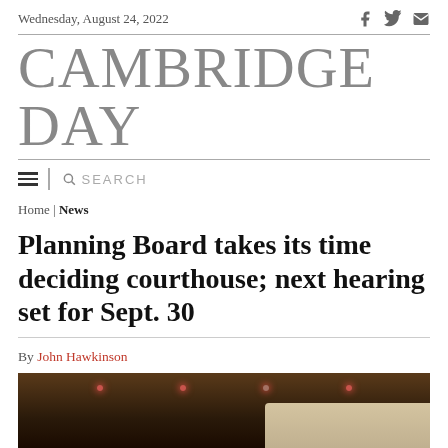Wednesday, August 24, 2022
CAMBRIDGE DAY
Home | News
Planning Board takes its time deciding courthouse; next hearing set for Sept. 30
By John Hawkinson
Wednesday, July 30, 2014
[Figure (photo): Interior photo of a room with dark wood, ceiling lights with red/pink dots visible, and a beige/cream ceiling section on the right side.]